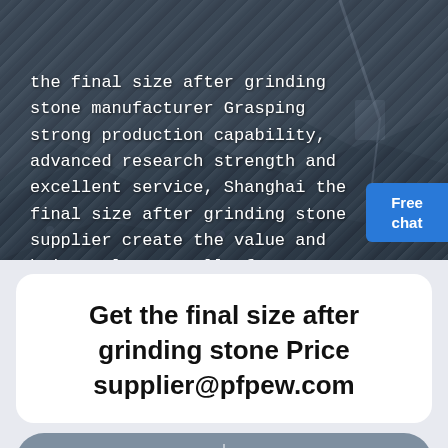[Figure (photo): Aerial view of a stone quarry/mining site with heavy machinery. White text overlay describes manufacturer capabilities. A 'Free chat' button is in the bottom right corner.]
Get the final size after grinding stone Price supplier@pfpew.com
Online Chat  |  Sales Hotline